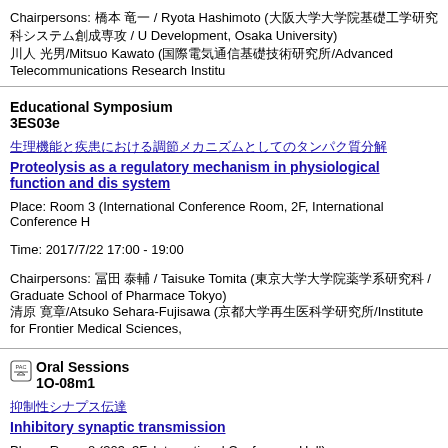Chairpersons: 橋本 竜一 / Ryota Hashimoto (大阪大学大学院基礎工学研究科システム創成専攻 / Univ Development, Osaka University)
川人 光男/Mitsuo Kawato (国際電気通信基礎技術研究所/Advanced Telecommunications Research Institu
Educational Symposium
3ES03e
生理機能と疾患における調節メカニズムとしてのタンパク質分解
Proteolysis as a regulatory mechanism in physiological function and disease of the nervous system
Place: Room 3 (International Conference Room, 2F, International Conference H
Time: 2017/7/22 17:00 - 19:00
Chairpersons: 冨田 泰輔 / Taisuke Tomita (東京大学大学院薬学系研究科 / Graduate School of Pharmacy, Tokyo)
清原 寛章/Atsuko Sehara-Fujisawa (京都大学再生医科学研究所/Institute for Frontier Medical Sciences,
Oral Sessions
1O-08m1
抑制性シナプス伝達
Inhibitory synaptic transmission
Place: Room 8 (303, 3F, International Conference Hall)
Time: 2017/7/20 08:45 - 09:45
Chairpersons: 川口 泰雄 / Yasuo Kawaguchi (生理研 / National Institute for Physiological Sciences)
久保田 義弘/Yoshiyuki Kubota (生理研/National Institute for Physiological Sciences)